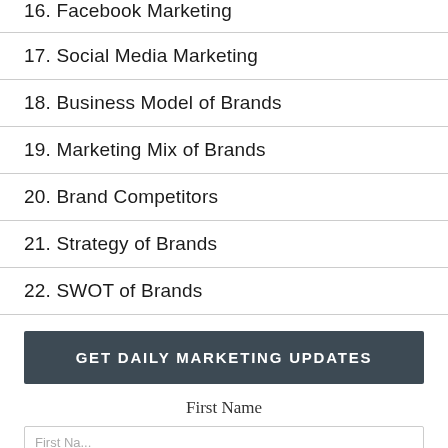16. Facebook Marketing
17. Social Media Marketing
18. Business Model of Brands
19. Marketing Mix of Brands
20. Brand Competitors
21. Strategy of Brands
22. SWOT of Brands
GET DAILY MARKETING UPDATES
First Name